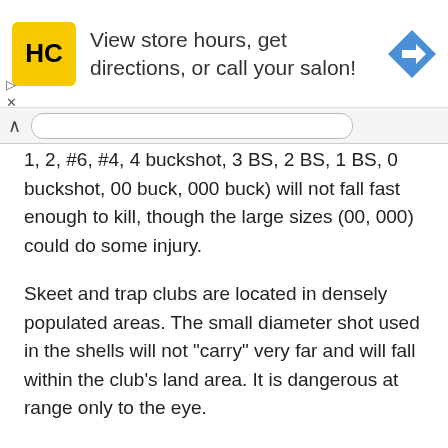[Figure (other): Advertisement banner for Hair Club (HC) salon with yellow logo, text 'View store hours, get directions, or call your salon!', and a blue navigation arrow icon on the right.]
1, 2, #6, #4, 4 buckshot, 3 BS, 2 BS, 1 BS, 0 buckshot, 00 buck, 000 buck) will not fall fast enough to kill, though the large sizes (00, 000) could do some injury.
Skeet and trap clubs are located in densely populated areas. The small diameter shot used in the shells will not "carry" very far and will fall within the club's land area. It is dangerous at range only to the eye.
In a vacuum, a feather will fall at the same rate as a lead cannonball if they are dropped from